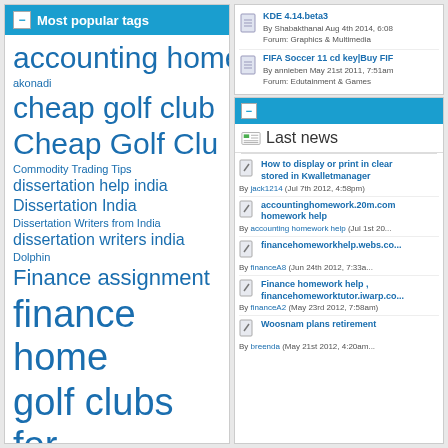Most popular tags
accounting homework akonadi cheap golf club Cheap Golf Club Commodity Trading Tips dissertation help india Dissertation India Dissertation Writers from India dissertation writers india Dolphin Finance assignment finance home golf clubs for Golf clubs sale Intraday tips KDE kmail MCX MCX Tips theme
Recent posts (KDE 4.14.beta3, FIFA Soccer 11 cd key|Buy FIF...)
KDE 4.14.beta3 By Shabakthanai Aug 4th 2014, 6:08 Forum: Graphics & Multimedia
FIFA Soccer 11 cd key|Buy FIF... By annieben May 21st 2011, 7:51am Forum: Edutainment & Games
Last news
How to display or print in clear... stored in Kwalletmanager By jack1214 (Jul 7th 2012, 4:58pm)
accountinghomework.20m.com... homework help By accounting homework help (Jul 1st 2012...)
financehomeworkhelp.webs.co... By financeA8 (Jun 24th 2012, 7:33a...)
Finance homework help , financehomeworktutor.iwarp.co... By financeA2 (May 23rd 2012, 7:58am)
Woosnam plans retirement By breenda (May 21st 2012, 4:20am...)